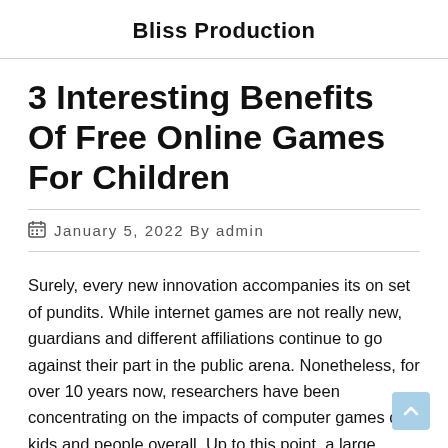Bliss Production
3 Interesting Benefits Of Free Online Games For Children
January 5, 2022 By admin
Surely, every new innovation accompanies its on set of pundits. While internet games are not really new, guardians and different affiliations continue to go against their part in the public arena. Nonetheless, for over 10 years now, researchers have been concentrating on the impacts of computer games on kids and people overall. Up to this point, a large portion of the reports have been positive. Playing web